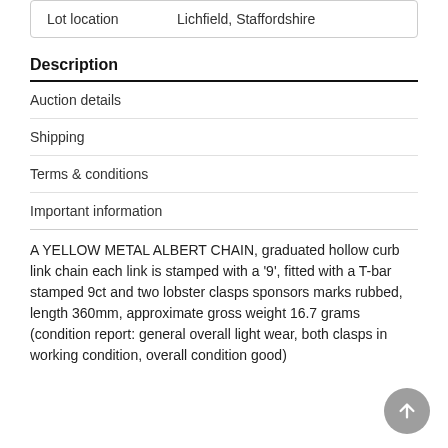| Lot location | Lichfield, Staffordshire |
| --- | --- |
Description
Auction details
Shipping
Terms & conditions
Important information
A YELLOW METAL ALBERT CHAIN, graduated hollow curb link chain each link is stamped with a '9', fitted with a T-bar stamped 9ct and two lobster clasps sponsors marks rubbed, length 360mm, approximate gross weight 16.7 grams (condition report: general overall light wear, both clasps in working condition, overall condition good)